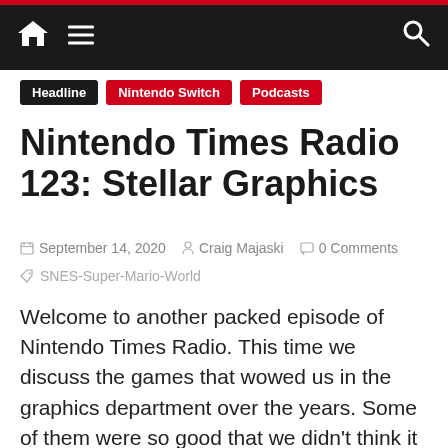Nintendo Times Radio — site navigation bar
Headline  Nintendo Switch  Podcasts
Nintendo Times Radio 123: Stellar Graphics
September 14, 2020  Craig Majaski  0 Comments
SNES-Super-Mario-World
Welcome to another packed episode of Nintendo Times Radio. This time we discuss the games that wowed us in the graphics department over the years. Some of them were so good that we didn't think it could get any better (spoiler: they always gets better). For the two of you that actually read this part, we had some technical issues with audio being lost. It was recovered but the speed was off, so